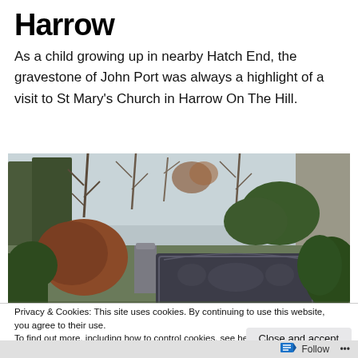Harrow
As a child growing up in nearby Hatch End, the gravestone of John Port was always a highlight of a visit to St Mary’s Church in Harrow On The Hill.
[Figure (photo): A photograph of a gravestone at St Mary's Church in Harrow On The Hill, with trees and shrubbery in the background. The gravestone is a large dark slate slab lying flat, with another smaller upright gravestone visible to its left. Autumn/winter bare trees and green hedges are visible.]
Privacy & Cookies: This site uses cookies. By continuing to use this website, you agree to their use.
To find out more, including how to control cookies, see here: Cookie Policy
Follow ...